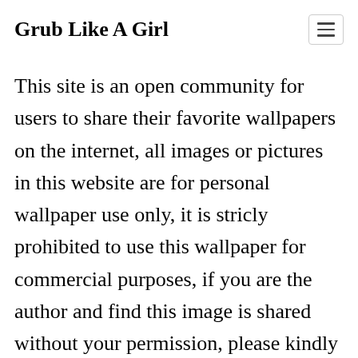Grub Like A Girl
This site is an open community for users to share their favorite wallpapers on the internet, all images or pictures in this website are for personal wallpaper use only, it is stricly prohibited to use this wallpaper for commercial purposes, if you are the author and find this image is shared without your permission, please kindly raise a DMCA report to Us.